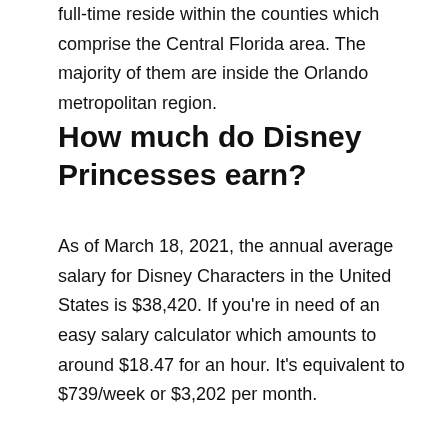full-time reside within the counties which comprise the Central Florida area. The majority of them are inside the Orlando metropolitan region.
How much do Disney Princesses earn?
As of March 18, 2021, the annual average salary for Disney Characters in the United States is $38,420. If you're in need of an easy salary calculator which amounts to around $18.47 for an hour. It's equivalent to $739/week or $3,202 per month.